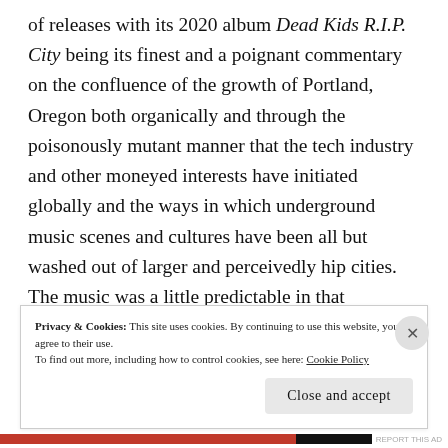of releases with its 2020 album Dead Kids R.I.P. City being its finest and a poignant commentary on the confluence of the growth of Portland, Oregon both organically and through the poisonously mutant manner that the tech industry and other moneyed interests have initiated globally and the ways in which underground music scenes and cultures have been all but washed out of larger and perceivedly hip cities. The music was a little predictable in that obviously influenced by The Cure and The Chameleons way early on but that latest record has some more inventive
Privacy & Cookies: This site uses cookies. By continuing to use this website, you agree to their use.
To find out more, including how to control cookies, see here: Cookie Policy
Close and accept